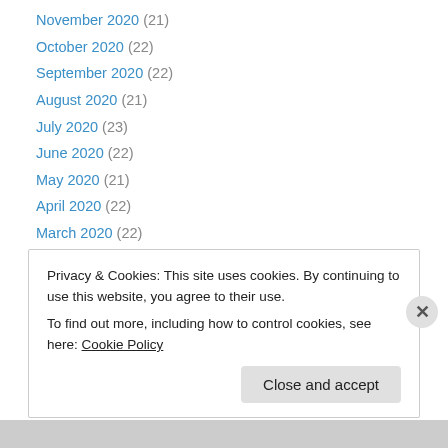November 2020 (21)
October 2020 (22)
September 2020 (22)
August 2020 (21)
July 2020 (23)
June 2020 (22)
May 2020 (21)
April 2020 (22)
March 2020 (22)
February 2020 (20)
January 2020 (23)
December 2019 (17)
November 2019 (21)
Privacy & Cookies: This site uses cookies. By continuing to use this website, you agree to their use. To find out more, including how to control cookies, see here: Cookie Policy